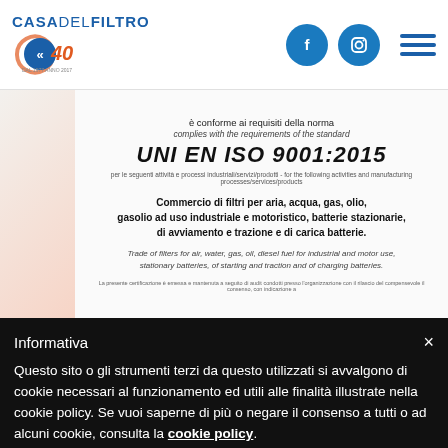CASA DEL FILTRO 40 [logo with social icons and hamburger menu]
[Figure (photo): ISO 9001:2015 certificate document showing: 'è conforme ai requisiti della norma / complies with the requirements of the standard / UNI EN ISO 9001:2015 / per le seguenti attività e processi industriali/servizi/prodotti - for the following activities and manufacturing processes/services/products / Commercio di filtri per aria, acqua, gas, olio, gasolio ad uso industriale e motoristico, batterie stazionarie, di avviamento e trazione e di carica batterie. / Trade of filters for air, water, gas, oil, diesel fuel for industrial and motor use, stationary batteries, of starting and traction and of charging batteries.']
Informativa
Questo sito o gli strumenti terzi da questo utilizzati si avvalgono di cookie necessari al funzionamento ed utili alle finalità illustrate nella cookie policy. Se vuoi saperne di più o negare il consenso a tutti o ad alcuni cookie, consulta la cookie policy. Chiudendo questo banner, scorrendo questa pagina, cliccando su un link o proseguendo la navigazione in altra maniera, acconsenti all'uso dei cookie.